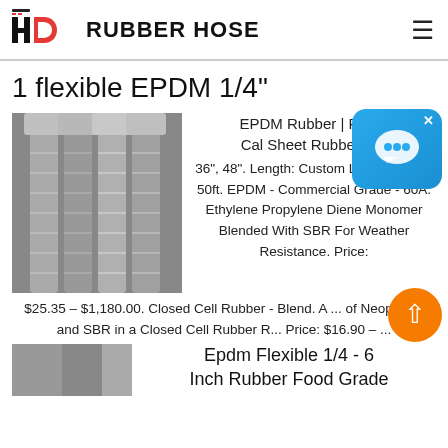[Figure (logo): HD Rubber Hose logo with stylized H and D letters, red D shape, followed by bold text RUBBER HOSE]
1 flexible EPDM 1/4"
[Figure (photo): Photo of flexible metal braided rubber hoses, stainless steel fittings, arranged diagonally]
EPDM Rubber | Rubber Cal Sheet Rubber R... 36", 48". Length: Custom Lengths Up to 50ft. EPDM - Commercial Grade - 60A. Ethylene Propylene Diene Monomer Blended With SBR For Weather Resistance. Price: $25.35 – $1,180.00. Closed Cell Rubber - Blend. A ... of Neoprene, and SBR in a Closed Cell Rubber R... Price: $16.90 – ...
Epdm Flexible 1/4 - 6 Inch Rubber Food Grade
[Figure (photo): Partial photo at bottom of page of rubber hose product]